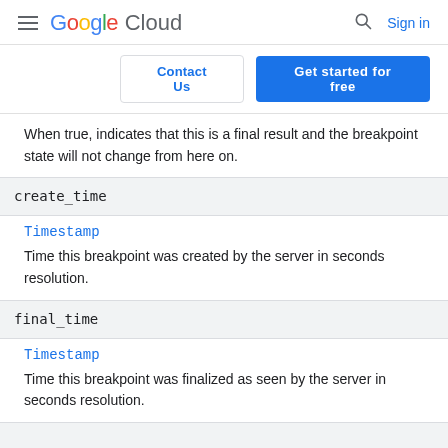Google Cloud  Sign in
Contact Us  Get started for free
When true, indicates that this is a final result and the breakpoint state will not change from here on.
create_time
Timestamp
Time this breakpoint was created by the server in seconds resolution.
final_time
Timestamp
Time this breakpoint was finalized as seen by the server in seconds resolution.